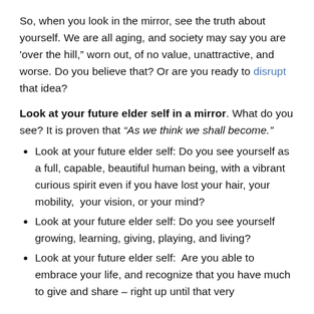So, when you look in the mirror, see the truth about yourself.  We are all aging, and society may say you are 'over the hill," worn out, of no value, unattractive, and worse. Do you believe that?  Or are you ready to disrupt that idea?
Look at your future elder self in a mirror.  What do you see?  It is proven that "As we think we shall become."
Look at your future elder self: Do you see yourself as a full, capable, beautiful human being, with a vibrant curious spirit even if you have lost your hair, your mobility,  your vision, or your mind?
Look at your future elder self: Do you see yourself growing, learning, giving, playing, and living?
Look at your future elder self:  Are you able to embrace your life, and recognize that you have much to give and share – right up until that very